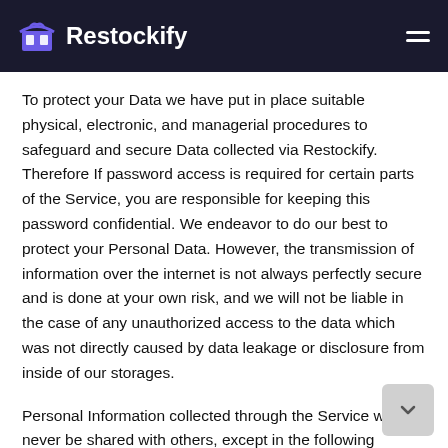Restockify
To protect your Data we have put in place suitable physical, electronic, and managerial procedures to safeguard and secure Data collected via Restockify. Therefore If password access is required for certain parts of the Service, you are responsible for keeping this password confidential. We endeavor to do our best to protect your Personal Data. However, the transmission of information over the internet is not always perfectly secure and is done at your own risk, and we will not be liable in the case of any unauthorized access to the data which was not directly caused by data leakage or disclosure from inside of our storages.
Personal Information collected through the Service will never be shared with others, except in the following